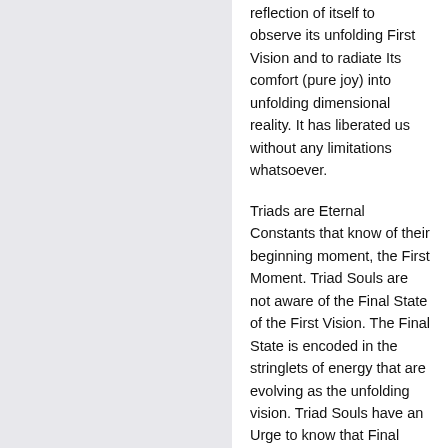reflection of itself to observe its unfolding First Vision and to radiate Its comfort (pure joy) into unfolding dimensional reality. It has liberated us without any limitations whatsoever.
Triads are Eternal Constants that know of their beginning moment, the First Moment. Triad Souls are not aware of the Final State of the First Vision. The Final State is encoded in the stringlets of energy that are evolving as the unfolding vision. Triad Souls have an Urge to know that Final State as its eternal companion. Triad Souls lose themselves in matter in an effort to see that Final State. Dyad Souls know the Final State and actively keep this from Triads to ensure that Triads continue to incarnate into matter to observe the unfolding First Vision. Triads, as the witnesses to the unfolding of the First Vision, are Creator God's emissaries